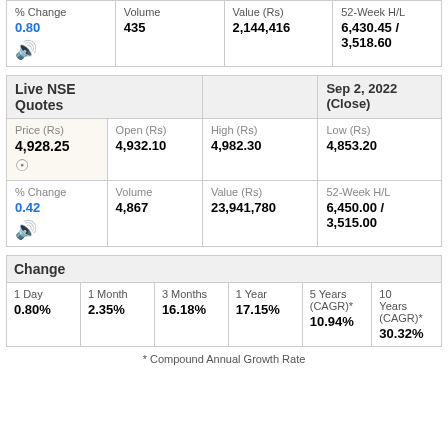| % Change | Volume | Value (Rs) | 52-Week H/L |
| --- | --- | --- | --- |
| 0.80 | 435 | 2,144,416 | 6,430.45 / 3,518.60 |
| Live NSE Quotes |  |  | Sep 2, 2022 (Close) |
| --- | --- | --- | --- |
| Price (Rs)
4,928.25 | Open (Rs)
4,932.10 | High (Rs)
4,982.30 | Low (Rs)
4,853.20 |
| % Change
0.42 | Volume
4,867 | Value (Rs)
23,941,780 | 52-Week H/L
6,450.00 / 3,515.00 |
| Change |
| --- |
| 1 Day
0.80% | 1 Month
2.35% | 3 Months
16.18% | 1 Year
17.15% | 5 Years (CAGR)*
10.94% | 10 Years (CAGR)*
30.32% |
* Compound Annual Growth Rate